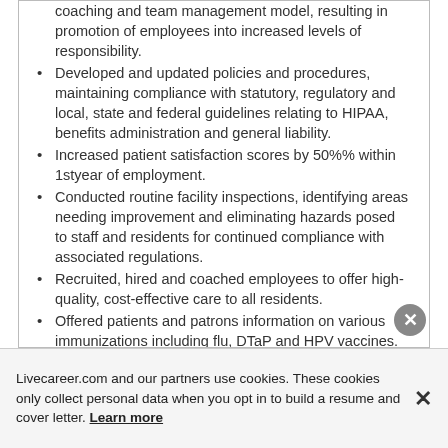coaching and team management model, resulting in promotion of employees into increased levels of responsibility.
Developed and updated policies and procedures, maintaining compliance with statutory, regulatory and local, state and federal guidelines relating to HIPAA, benefits administration and general liability.
Increased patient satisfaction scores by 50%% within 1styear of employment.
Conducted routine facility inspections, identifying areas needing improvement and eliminating hazards posed to staff and residents for continued compliance with associated regulations.
Recruited, hired and coached employees to offer high-quality, cost-effective care to all residents.
Offered patients and patrons information on various immunizations including flu, DTaP and HPV vaccines.
Recruited, hired and trained all staff, providing direct supervision, ongoing staff development and continuing education to employees.
Livecareer.com and our partners use cookies. These cookies only collect personal data when you opt in to build a resume and cover letter. Learn more